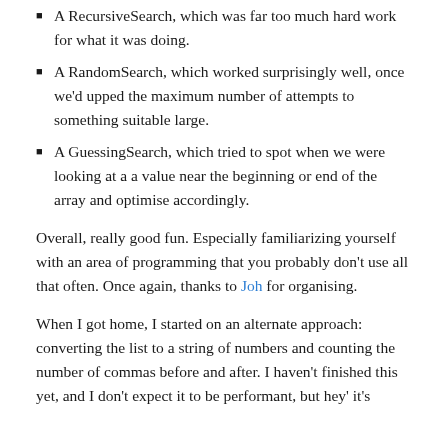A RecursiveSearch, which was far too much hard work for what it was doing.
A RandomSearch, which worked surprisingly well, once we'd upped the maximum number of attempts to something suitable large.
A GuessingSearch, which tried to spot when we were looking at a a value near the beginning or end of the array and optimise accordingly.
Overall, really good fun. Especially familiarizing yourself with an area of programming that you probably don't use all that often. Once again, thanks to Joh for organising.
When I got home, I started on an alternate approach: converting the list to a string of numbers and counting the number of commas before and after. I haven't finished this yet, and I don't expect it to be performant, but hey' it's